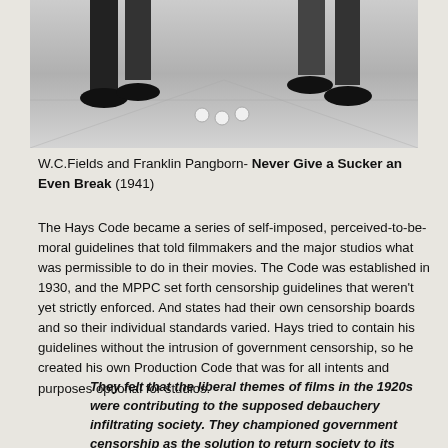[Figure (photo): Black and white photograph showing lower legs and shoes of two men standing on a tiled floor, with several small round objects (balls) on the floor between them.]
W.C.Fields and Franklin Pangborn- Never Give a Sucker an Even Break (1941)
The Hays Code became a series of self-imposed, perceived-to-be-moral guidelines that told filmmakers and the major studios what was permissible to do in their movies. The Code was established in 1930, and the MPPC set forth censorship guidelines that weren't yet strictly enforced. And states had their own censorship boards and so their individual standards varied. Hays tried to contain his guidelines without the intrusion of government censorship, so he created his own Production Code that was for all intents and purposes optional for studios.
They felt that the liberal themes of films in the 1920s were contributing to the supposed debauchery infiltrating society. They championed government censorship as the solution to return society to its traditional moral standards (Mondello).